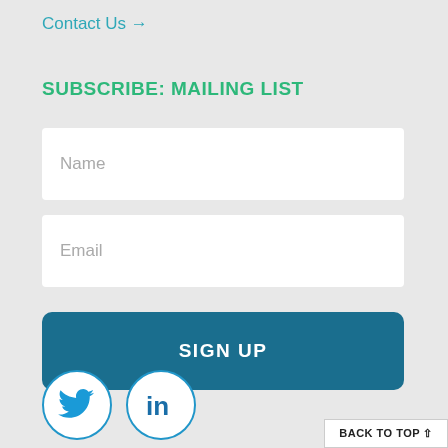Contact Us →
SUBSCRIBE: MAILING LIST
Name
Email
SIGN UP
[Figure (illustration): Twitter bird icon in a white circle with blue border]
[Figure (illustration): LinkedIn 'in' icon in a white circle with blue border]
BACK TO TOP ⇧